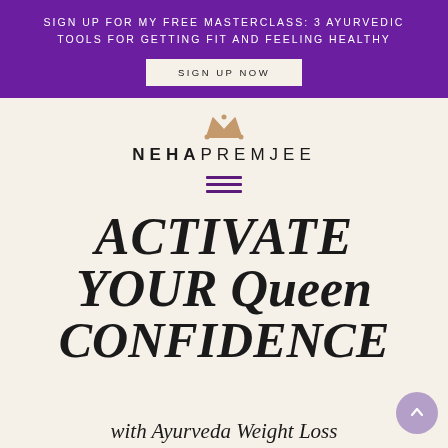SIGN UP FOR MY FREE MASTERCLASS: 3 AYURVEDIC TOOLS FOR GETTING FIT AND FEELING HEALTHY
SIGN UP NOW
[Figure (logo): Crown icon above NEHAPREMJEE logotype with hamburger menu icon]
ACTIVATE YOUR Queen CONFIDENCE
with Ayurveda Weight Loss